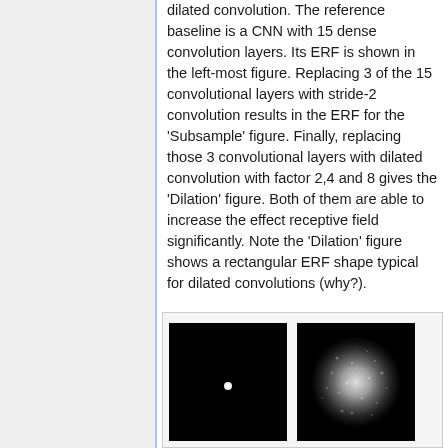dilated convolution. The reference baseline is a CNN with 15 dense convolution layers. Its ERF is shown in the left-most figure. Replacing 3 of the 15 convolutional layers with stride-2 convolution results in the ERF for the 'Subsample' figure. Finally, replacing those 3 convolutional layers with dilated convolution with factor 2,4 and 8 gives the 'Dilation' figure. Both of them are able to increase the effect receptive field significantly. Note the 'Dilation' figure shows a rectangular ERF shape typical for dilated convolutions (why?).
[Figure (photo): Two ERF (Effective Receptive Field) visualizations side by side on black backgrounds. Left image shows a small bright spot in the center (small ERF). Right image shows a larger diffuse circular bright region (larger ERF).]